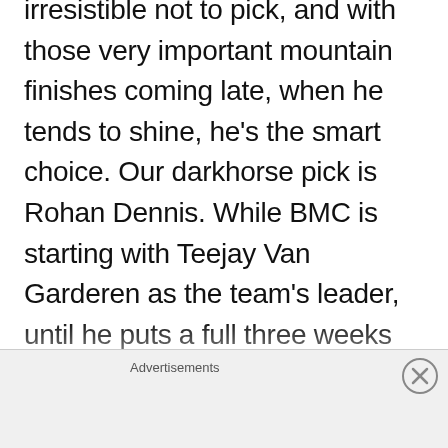irresistible not to pick, and with those very important mountain finishes coming late, when he tends to shine, he's the smart choice. Our darkhorse pick is Rohan Dennis. While BMC is starting with Teejay Van Garderen as the team's leader, until he puts a full three weeks together, we can't see him on a Giro podium. Dennis climbs well, positions himself brilliantly, and always has the TT ability to make up some ground. He's right around the same
Advertisements